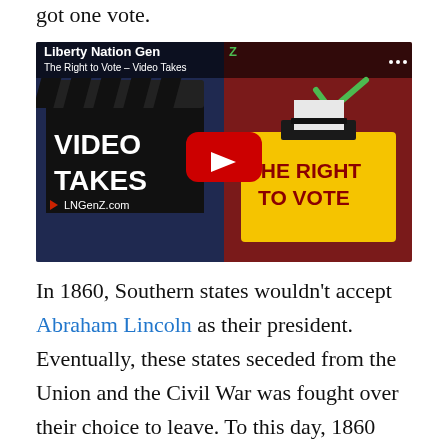got one vote.
[Figure (screenshot): YouTube video thumbnail for 'The Right to Vote – Video Takes' from Liberty Nation GenZ (LNGenZ.com). Shows a clapperboard on the left with 'VIDEO TAKES' text, a red YouTube play button in the center, and a yellow ballot box on the right with 'THE RIGHT TO VOTE' in dark red text.]
In 1860, Southern states wouldn't accept Abraham Lincoln as their president. Eventually, these states seceded from the Union and the Civil War was fought over their choice to leave. To this day, 1860 remains the most extreme